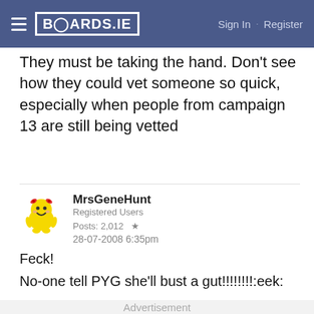BOARDS.IE  Sign In · Register
They must be taking the hand. Don't see how they could vet someone so quick, especially when people from campaign 13 are still being vetted
MrsGeneHunt
Registered Users
Posts: 2,012 ★
28-07-2008 6:35pm
Feck!
No-one tell PYG she'll bust a gut!!!!!!!!:eek:
Advertisement
tally  Fast credit card payoff  Download Now →